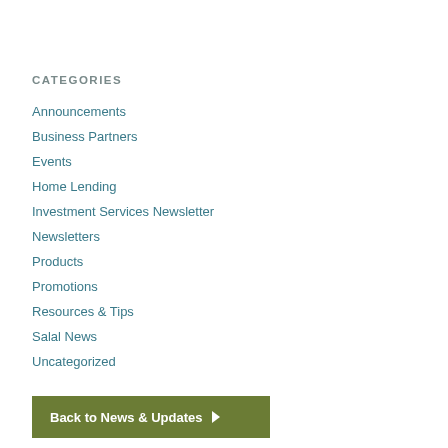CATEGORIES
Announcements
Business Partners
Events
Home Lending
Investment Services Newsletter
Newsletters
Products
Promotions
Resources & Tips
Salal News
Uncategorized
Back to News & Updates